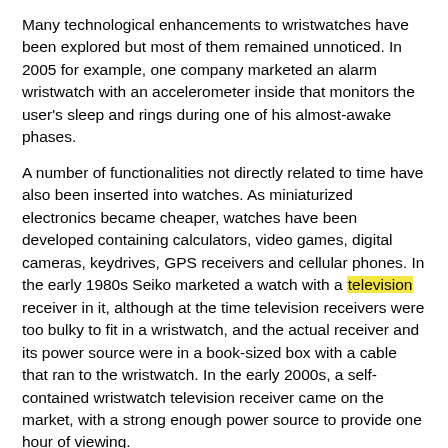Many technological enhancements to wristwatches have been explored but most of them remained unnoticed. In 2005 for example, one company marketed an alarm wristwatch with an accelerometer inside that monitors the user's sleep and rings during one of his almost-awake phases.
A number of functionalities not directly related to time have also been inserted into watches. As miniaturized electronics became cheaper, watches have been developed containing calculators, video games, digital cameras, keydrives, GPS receivers and cellular phones. In the early 1980s Seiko marketed a watch with a television receiver in it, although at the time television receivers were too bulky to fit in a wristwatch, and the actual receiver and its power source were in a book-sized box with a cable that ran to the wristwatch. In the early 2000s, a self-contained wristwatch television receiver came on the market, with a strong enough power source to provide one hour of viewing.
These watches have not had sustained long-term sales success. As well as awkward user interfaces due to the tiny screens and buttons possible in a wearable package, and in some cases short battery life, the functionality available has not generally proven sufficiently compelling to attract buyers. Such watches have also had the reputation as ugly and thus mainly geek toys. Now with the ubiquity of the mobile phone in many countries, which have bigger screens, buttons, and batteries, interest in incorporating extra functionality in watches seems to have declined.
Several companies have however attempted to develop a computer...